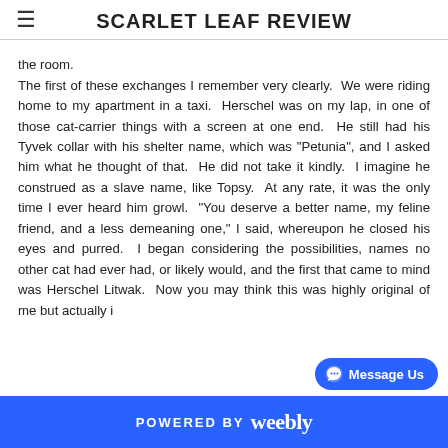SCARLET LEAF REVIEW
the room.
The first of these exchanges I remember very clearly.  We were riding home to my apartment in a taxi.  Herschel was on my lap, in one of those cat-carrier things with a screen at one end.  He still had his Tyvek collar with his shelter name, which was "Petunia", and I asked him what he thought of that.  He did not take it kindly.  I imagine he construed as a slave name, like Topsy.  At any rate, it was the only time I ever heard him growl.  "You deserve a better name, my feline friend, and a less demeaning one," I said, whereupon he closed his eyes and purred.  I began considering the possibilities, names no other cat had ever had, or likely would, and the first that came to mind was Herschel Litwak.  Now you may think this was highly original of me but actually i
POWERED BY weebly